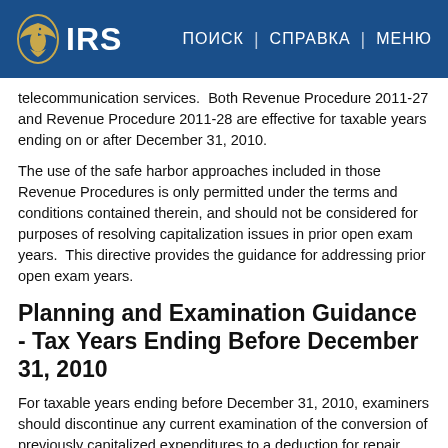IRS | ПОИСК | СПРАВКА | МЕНЮ
telecommunication services.  Both Revenue Procedure 2011-27 and Revenue Procedure 2011-28 are effective for taxable years ending on or after December 31, 2010.
The use of the safe harbor approaches included in those Revenue Procedures is only permitted under the terms and conditions contained therein, and should not be considered for purposes of resolving capitalization issues in prior open exam years.  This directive provides the guidance for addressing prior open exam years.
Planning and Examination Guidance - Tax Years Ending Before December 31, 2010
For taxable years ending before December 31, 2010, examiners should discontinue any current examination of the conversion of previously capitalized expenditures to a deduction for repair expense issue.  This discontinuation only applies to positions taken on original returns filed for taxable